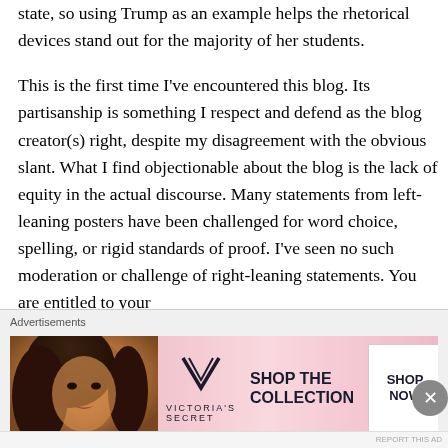state, so using Trump as an example helps the rhetorical devices stand out for the majority of her students.
This is the first time I've encountered this blog. Its partisanship is something I respect and defend as the blog creator(s) right, despite my disagreement with the obvious slant. What I find objectionable about the blog is the lack of equity in the actual discourse. Many statements from left-leaning posters have been challenged for word choice, spelling, or rigid standards of proof. I've seen no such moderation or challenge of right-leaning statements. You are entitled to your
Advertisements
[Figure (other): Victoria's Secret advertisement banner with a woman's photo on the left, VS logo in the middle, 'SHOP THE COLLECTION' text, and a 'SHOP NOW' button on the right, pink gradient background.]